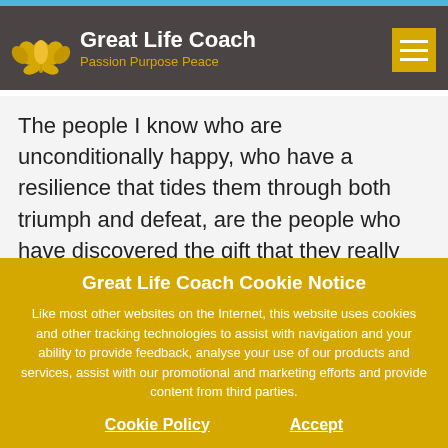Great Life Coach — Passion Purpose Peace
The people I know who are unconditionally happy, who have a resilience that tides them through both triumph and defeat, are the people who have discovered the gift that they really want to give to the world. They know how
Great Life Coach Cookie Notice
Like most other websites on the Internet, this website uses cookies and other tracking technologies to assist with navigation and your ability to provide feedback, analyse your use of our products and services, assist with our promotional and marketing efforts and provide content from third parties.
Cookie Policy   Accept